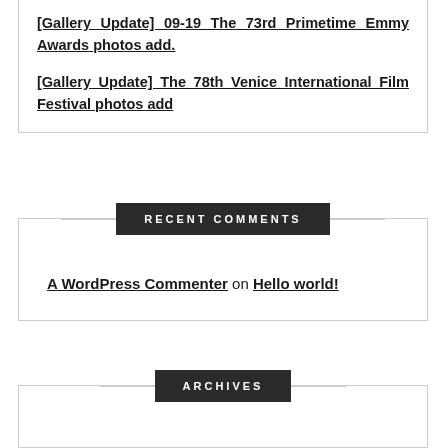[Gallery Update] 09-19 The 73rd Primetime Emmy Awards photos add.
[Gallery Update] The 78th Venice International Film Festival photos add
RECENT COMMENTS
A WordPress Commenter on Hello world!
ARCHIVES